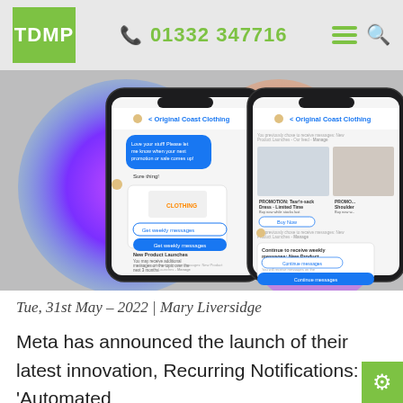TDMP | 01332 347716
[Figure (screenshot): Two smartphone screens showing a Facebook Messenger conversation with Original Coast Clothing, demonstrating recurring notifications and product launch messages with a Buy Now prompt.]
Tue, 31st May - 2022 | Mary Liversidge
Meta has announced the launch of their latest innovation, Recurring Notifications: 'Automated